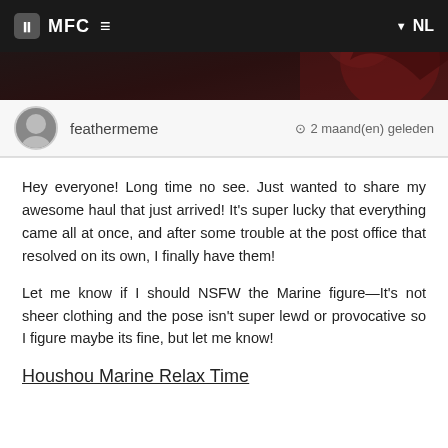MFC ≡  ▼ NL
[Figure (illustration): Anime figure banner image with dark background, partially visible character in red]
feathermeme   ⊙ 2 maand(en) geleden
Hey everyone! Long time no see. Just wanted to share my awesome haul that just arrived! It's super lucky that everything came all at once, and after some trouble at the post office that resolved on its own, I finally have them!
Let me know if I should NSFW the Marine figure—It's not sheer clothing and the pose isn't super lewd or provocative so I figure maybe its fine, but let me know!
Houshou Marine Relax Time